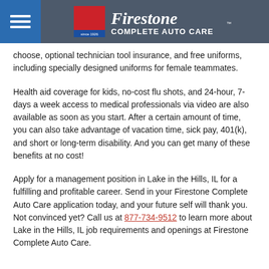Firestone Complete Auto Care
choose, optional technician tool insurance, and free uniforms, including specially designed uniforms for female teammates.
Health aid coverage for kids, no-cost flu shots, and 24-hour, 7-days a week access to medical professionals via video are also available as soon as you start. After a certain amount of time, you can also take advantage of vacation time, sick pay, 401(k), and short or long-term disability. And you can get many of these benefits at no cost!
Apply for a management position in Lake in the Hills, IL for a fulfilling and profitable career. Send in your Firestone Complete Auto Care application today, and your future self will thank you. Not convinced yet? Call us at 877-734-9512 to learn more about Lake in the Hills, IL job requirements and openings at Firestone Complete Auto Care.